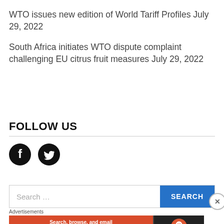WTO issues new edition of World Tariff Profiles July 29, 2022
South Africa initiates WTO dispute complaint challenging EU citrus fruit measures July 29, 2022
FOLLOW US
[Figure (illustration): Facebook and Twitter social media icons]
[Figure (screenshot): Search bar with placeholder text 'Search ...' and blue SEARCH button]
[Figure (illustration): DuckDuckGo advertisement banner: 'Search, browse, and email with more privacy. All in One Free App' with DuckDuckGo logo]